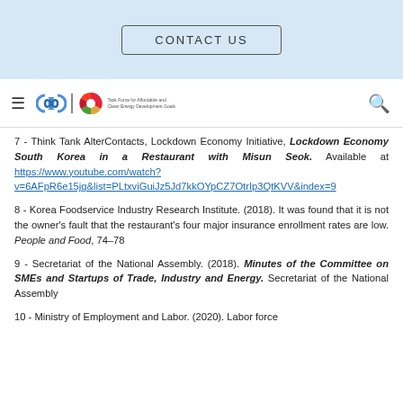CONTACT US
7 - Think Tank AlterContacts, Lockdown Economy Initiative, Lockdown Economy South Korea in a Restaurant with Misun Seok. Available at https://www.youtube.com/watch?v=6AFpR6e15jg&list=PLtxviGuiJz5Jd7kkOYpCZ7OtrIp3QtKVV&index=9
8 - Korea Foodservice Industry Research Institute. (2018). It was found that it is not the owner's fault that the restaurant's four major insurance enrollment rates are low. People and Food, 74-78
9 - Secretariat of the National Assembly. (2018). Minutes of the Committee on SMEs and Startups of Trade, Industry and Energy. Secretariat of the National Assembly
10 - Ministry of Employment and Labor. (2020). Labor force